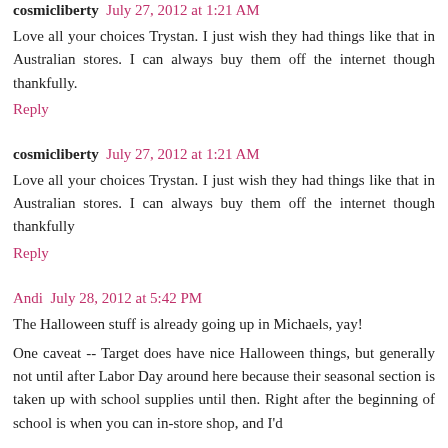cosmicliberty July 27, 2012 at 1:21 AM
Love all your choices Trystan. I just wish they had things like that in Australian stores. I can always buy them off the internet though thankfully.
Reply
cosmicliberty July 27, 2012 at 1:21 AM
Love all your choices Trystan. I just wish they had things like that in Australian stores. I can always buy them off the internet though thankfully
Reply
Andi July 28, 2012 at 5:42 PM
The Halloween stuff is already going up in Michaels, yay!
One caveat -- Target does have nice Halloween things, but generally not until after Labor Day around here because their seasonal section is taken up with school supplies until then. Right after the beginning of school is when you can in-store shop, and I'd